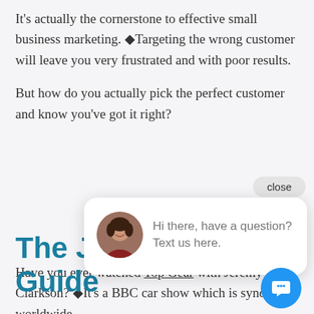It's actually the cornerstone to effective small business marketing. ◆Targeting the wrong customer will leave you very frustrated and with poor results.
But how do you actually pick the perfect customer and know you've got it right?
[Figure (screenshot): Chat popup widget with avatar photo of a woman, message 'Hi there, have a question? Text us here.' and a close button above the popup.]
The J… Guide…
Have you ever watched Top Gear with Jeremy Clarkson? ◆It's a BBC car show which is syndicated worldwide.